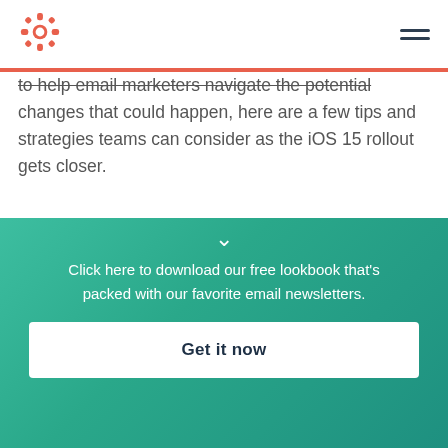HubSpot logo and hamburger menu
to help email marketers navigate the potential changes that could happen, here are a few tips and strategies teams can consider as the iOS 15 rollout gets closer.
How Email Marketers Can Navigate Apple's Open Privacy Ch…
Click here to download our free lookbook that's packed with our favorite email newsletters.
Get it now